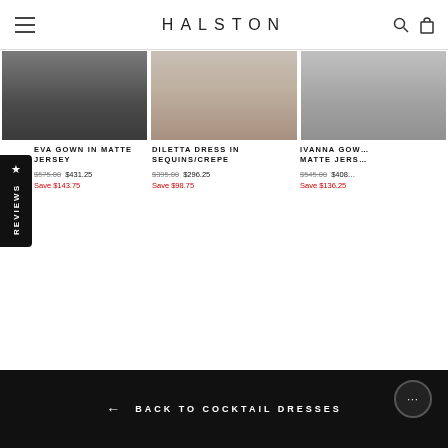HALSTON
[Figure (photo): Eva Gown in Matte Jersey - black dress product photo]
EVA GOWN IN MATTE JERSEY
$575.00  $431.25  Save $143.75
[Figure (photo): Diletta Dress in Sequins/Crepe - nude heels product photo]
DILETTA DRESS IN SEQUINS/CREPE
$395.00  $296.25  Save $98.75
[Figure (photo): Ivanna Gown in Matte Jersey - partial product photo]
IVANNA GOWN IN MATTE JERSEY
$545.00  $408...  Save $136.25
← BACK TO COCKTAIL DRESSES